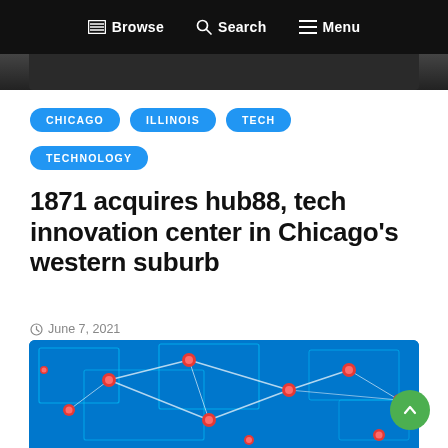Browse  Search  Menu
[Figure (photo): Partial dark photo of a workspace, cropped at the top of the article page]
CHICAGO  ILLINOIS  TECH
TECHNOLOGY
1871 acquires hub88, tech innovation center in Chicago's western suburb
June 7, 2021
[Figure (illustration): Blue technology network illustration with red spheres connected by glowing lines on a circuit-board background]